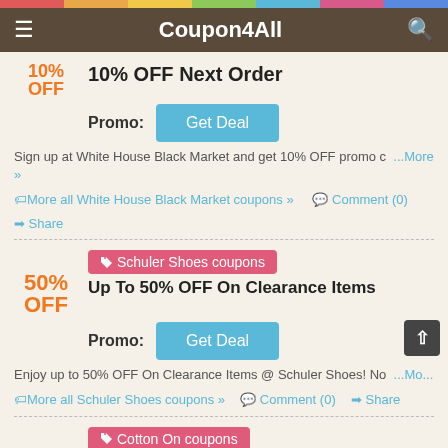Coupon4All
OFF 10% OFF Next Order
Promo: Get Deal
Sign up at White House Black Market and get 10% OFF promo c... ...More »
More all White House Black Market coupons » Comment (0) Share
Schuler Shoes coupons 50% OFF Up To 50% OFF On Clearance Items
Promo: Get Deal
Enjoy up to 50% OFF On Clearance Items @ Schuler Shoes! No ...Mo...
More all Schuler Shoes coupons » Comment (0) Share
Cotton On coupons 15% OFF Extra 15% OFF For Students